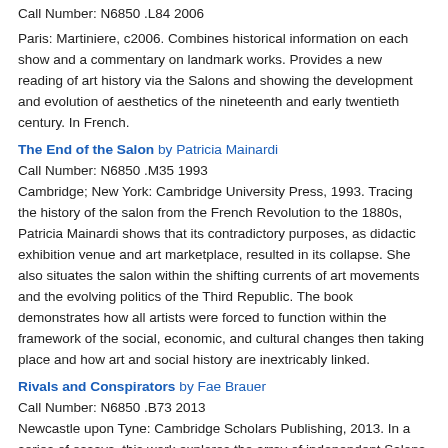Call Number: N6850 .L84 2006
Paris: Martiniere, c2006. Combines historical information on each show and a commentary on landmark works. Provides a new reading of art history via the Salons and showing the development and evolution of aesthetics of the nineteenth and early twentieth century. In French.
The End of the Salon by Patricia Mainardi
Call Number: N6850 .M35 1993
Cambridge; New York: Cambridge University Press, 1993. Tracing the history of the salon from the French Revolution to the 1880s, Patricia Mainardi shows that its contradictory purposes, as didactic exhibition venue and art marketplace, resulted in its collapse. She also situates the salon within the shifting currents of art movements and the evolving politics of the Third Republic. The book demonstrates how all artists were forced to function within the framework of the social, economic, and cultural changes then taking place and how art and social history are inextricably linked.
Rivals and Conspirators by Fae Brauer
Call Number: N6850 .B73 2013
Newcastle upon Tyne: Cambridge Scholars Publishing, 2013. In a series of essays, this work explores the array of independent Salons that mushroomed once the State-run Salon in Paris closed.